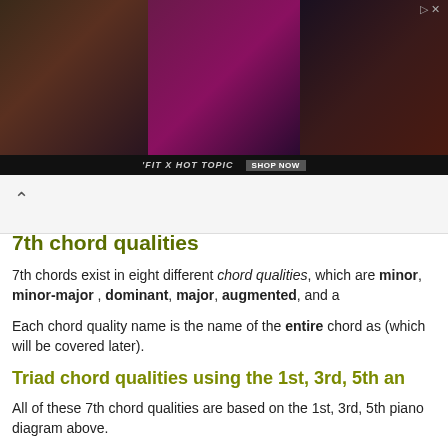[Figure (photo): Advertisement banner for 'FIT X HOT TOPIC' featuring three women in dark clothing against a dark background, with a 'SHOP NOW' button.]
7th chord qualities
7th chords exist in eight different chord qualities, which are minor, minor-major, dominant, major, augmented, and a
Each chord quality name is the name of the entire chord as (which will be covered later).
Triad chord qualities using the 1st, 3rd, 5th an
All of these 7th chord qualities are based on the 1st, 3rd, 5th piano diagram above.
Depending on the chord quality, the 3rd, 5th and 7th scale n might need to be adjusted up or down by one or more half-n
It is these variations of the 3rd, 5th and 7th notes that give e given key (eg. C flat, E etc).